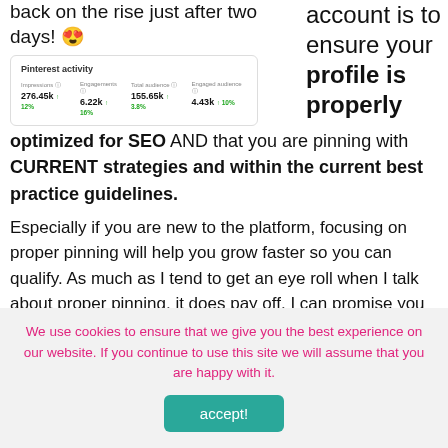back on the rise just after two days! 😍
[Figure (screenshot): Pinterest activity dashboard showing metrics: Impressions 276.45k ↑12%, Engagements 6.22k ↑16%, Total audience 155.65k ↑3.8%, Engaged audience 4.43k ↑10%]
account is to ensure your profile is properly optimized for SEO AND that you are pinning with CURRENT strategies and within the current best practice guidelines.
Especially if you are new to the platform, focusing on proper pinning will help you grow faster so you can qualify. As much as I tend to get an eye roll when I talk about proper pinning, it does pay off. I can promise you
We use cookies to ensure that we give you the best experience on our website. If you continue to use this site we will assume that you are happy with it.
accept!